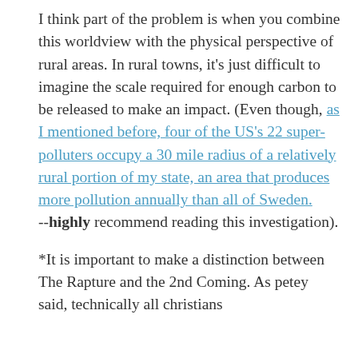I think part of the problem is when you combine this worldview with the physical perspective of rural areas. In rural towns, it's just difficult to imagine the scale required for enough carbon to be released to make an impact. (Even though, as I mentioned before, four of the US's 22 super-polluters occupy a 30 mile radius of a relatively rural portion of my state, an area that produces more pollution annually than all of Sweden. --highly recommend reading this investigation).
*It is important to make a distinction between The Rapture and the 2nd Coming. As petey said, technically all christians